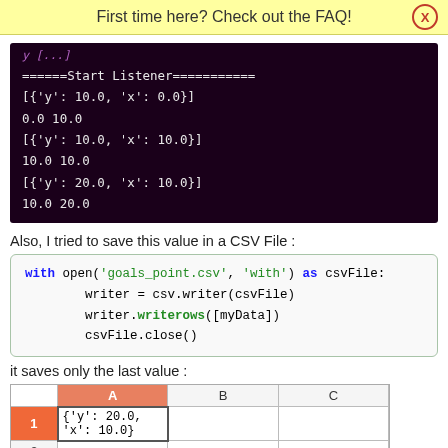First time here? Check out the FAQ!
[Figure (screenshot): Terminal output showing ======Start Listener=========, [{'y': 10.0, 'x': 0.0}], 0.0 10.0, [{'y': 10.0, 'x': 10.0}], 10.0 10.0, [{'y': 20.0, 'x': 10.0}], 10.0 20.0]
Also, I tried to save this value in a CSV File :
with open('goals_point.csv', 'with') as csvFile:
    writer = csv.writer(csvFile)
    writer.writerows([myData])
    csvFile.close()
it saves only the last value :
|  | A | B | C |
| --- | --- | --- | --- |
| 1 | {'y': 20.0, 'x': 10.0} |  |  |
| 2 |  |  |  |
| 3 |  |  |  |